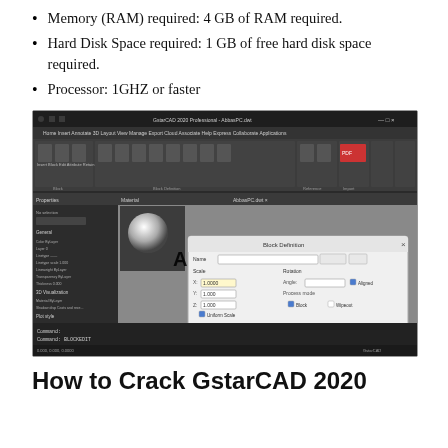Memory (RAM) required: 4 GB of RAM required.
Hard Disk Space required: 1 GB of free hard disk space required.
Processor: 1GHZ or faster
[Figure (screenshot): GstarCAD 2020 Professional software interface screenshot showing the main ribbon toolbar with Insert, Block, Edit Attributes, Attribute Retracement, Retain Drawings, Create Block, Define Attributes, Manage Attributes, Synchronize Attributes, Block Editor, Set Basic Font, Reference, PDF Import, and Data Import options. Below the toolbar is a properties panel on the left and the main drawing canvas. An 'Insert Block' dialog box is open showing Name field with Browse and Pick buttons, Scale section with X/Y/Z fields set to 1.0000, Uniform Scale checkbox, Rotation section with Angle field and Aligned checkbox, and Process mode section with Block and Wipeout checkboxes. Insert block, Select Inserted block, and Cancel buttons appear at the bottom of the dialog. The watermark 'AbbasPC.Net' appears prominently in the center of the screen.]
How to Crack GstarCAD 2020